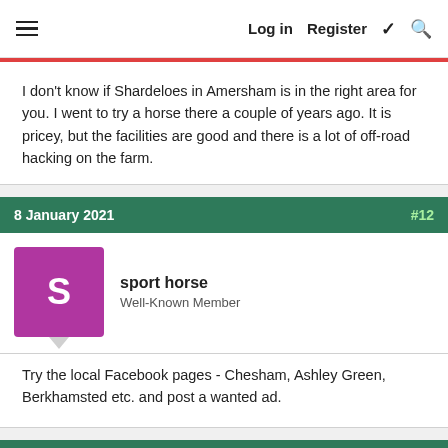Log in  Register
I don't know if Shardeloes in Amersham is in the right area for you. I went to try a horse there a couple of years ago. It is pricey, but the facilities are good and there is a lot of off-road hacking on the farm.
8 January 2021  #12
sport horse
Well-Known Member
Try the local Facebook pages - Chesham, Ashley Green, Berkhamsted etc. and post a wanted ad.
8 January 2021  #13
neddy man
Well-Known Member